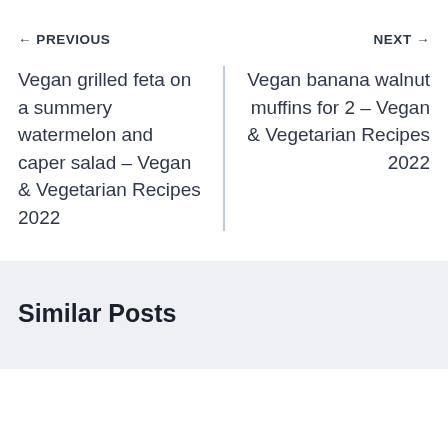← PREVIOUS
NEXT →
Vegan grilled feta on a summery watermelon and caper salad – Vegan & Vegetarian Recipes 2022
Vegan banana walnut muffins for 2 – Vegan & Vegetarian Recipes 2022
Similar Posts